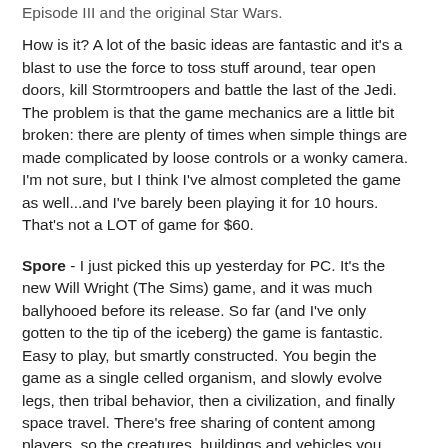Episode III and the original Star Wars.
How is it? A lot of the basic ideas are fantastic and it's a blast to use the force to toss stuff around, tear open doors, kill Stormtroopers and battle the last of the Jedi. The problem is that the game mechanics are a little bit broken: there are plenty of times when simple things are made complicated by loose controls or a wonky camera. I'm not sure, but I think I've almost completed the game as well...and I've barely been playing it for 10 hours. That's not a LOT of game for $60.
Spore - I just picked this up yesterday for PC. It's the new Will Wright (The Sims) game, and it was much ballyhooed before its release. So far (and I've only gotten to the tip of the iceberg) the game is fantastic. Easy to play, but smartly constructed. You begin the game as a single celled organism, and slowly evolve legs, then tribal behavior, then a civilization, and finally space travel. There's free sharing of content among players, so the creatures, buildings and vehicles you create become a part of the larger Spore universe. All in all, I'm incredibly happy with it from the few hours I played yesterday.